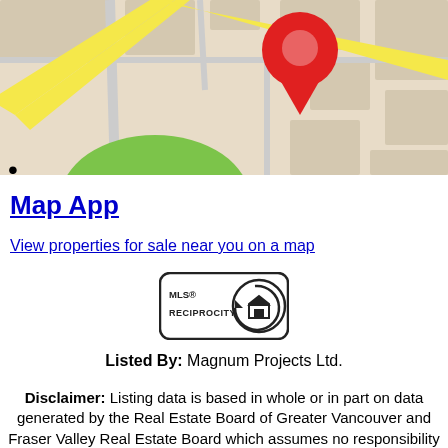[Figure (map): Google Maps style street map with a red location pin marker and yellow road, green park area, and beige city blocks]
•
Map App
View properties for sale near you on a map
[Figure (logo): MLS® Reciprocity logo — rounded rectangle with house icon and text MLS® RECIPROCITY]
Listed By: Magnum Projects Ltd.
Disclaimer: Listing data is based in whole or in part on data generated by the Real Estate Board of Greater Vancouver and Fraser Valley Real Estate Board which assumes no responsibility